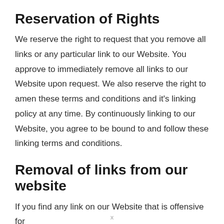Reservation of Rights
We reserve the right to request that you remove all links or any particular link to our Website. You approve to immediately remove all links to our Website upon request. We also reserve the right to amen these terms and conditions and it's linking policy at any time. By continuously linking to our Website, you agree to be bound to and follow these linking terms and conditions.
Removal of links from our website
If you find any link on our Website that is offensive for